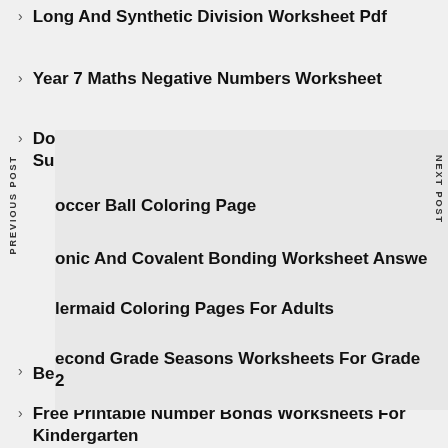Long And Synthetic Division Worksheet Pdf
Year 7 Maths Negative Numbers Worksheet
Double Digit Color By Number Addition And Subtraction Pdf
Soccer Ball Coloring Page
Ionic And Covalent Bonding Worksheet Answers
Mermaid Coloring Pages For Adults
Second Grade Seasons Worksheets For Grade 2
Bear Coloring Pages To Print
Free Printable Number Bonds Worksheets For Kindergarten